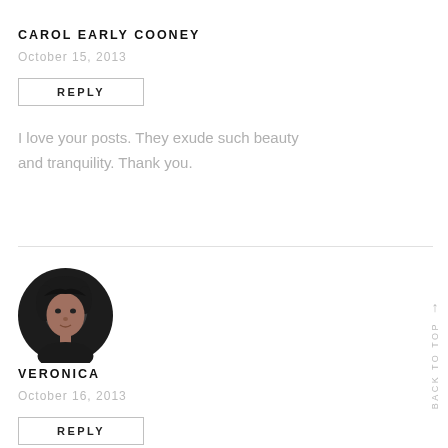CAROL EARLY COONEY
October 15, 2013
REPLY
I love your posts. They exude such beauty and tranquility. Thank you.
[Figure (photo): Circular avatar photo of a woman with dark hair, smiling slightly, dark background]
VERONICA
October 16, 2013
REPLY
Aw thank you Carol, I try to go for
BACK TO TOP